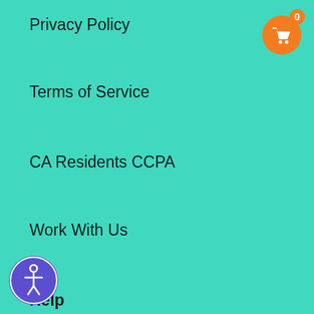Privacy Policy
Terms of Service
CA Residents CCPA
Work With Us
Help
Contact US
Refund Policy
…pping
[Figure (illustration): Orange circular shopping cart button with badge showing 0 in top right corner]
[Figure (illustration): Purple circular accessibility button with person/wheelchair icon in bottom left corner]